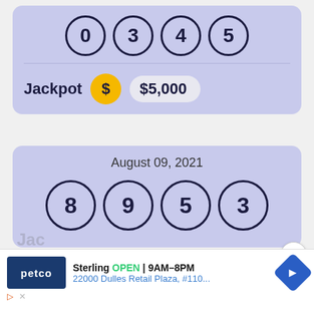[Figure (infographic): Lottery card showing numbers 0, 3, 4, 5 in circles with Jackpot $5,000]
[Figure (infographic): Lottery card for August 09, 2021 showing numbers 8, 9, 5, 3 in circles]
[Figure (infographic): Petco advertisement banner showing Sterling location OPEN 9AM-8PM, 22000 Dulles Retail Plaza, #110...]